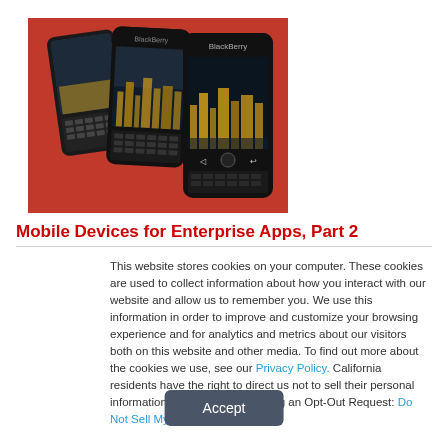[Figure (photo): Three BlackBerry smartphones arranged overlapping on a red background, showing city skyline on screens]
Mobile Devices for Enterprise Apps, Part 2
This website stores cookies on your computer. These cookies are used to collect information about how you interact with our website and allow us to remember you. We use this information in order to improve and customize your browsing experience and for analytics and metrics about our visitors both on this website and other media. To find out more about the cookies we use, see our Privacy Policy. California residents have the right to direct us not to sell their personal information to third parties by filing an Opt-Out Request: Do Not Sell My Personal Info.
Accept